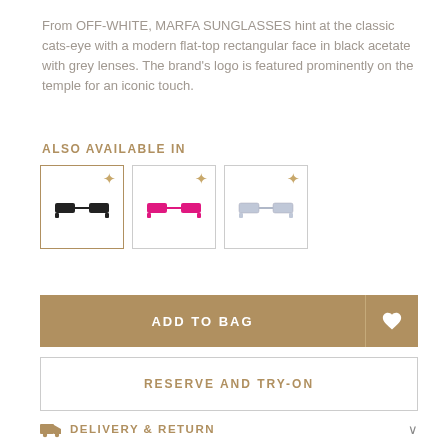From OFF-WHITE, MARFA SUNGLASSES hint at the classic cats-eye with a modern flat-top rectangular face in black acetate with grey lenses. The brand's logo is featured prominently on the temple for an iconic touch.
ALSO AVAILABLE IN
[Figure (photo): Three thumbnail images of sunglasses variants: black frame, pink/magenta frame, and light grey/white frame, each with a sparkle icon in the top right corner. The black frame variant is selected (gold border).]
ADD TO BAG
RESERVE AND TRY-ON
DELIVERY & RETURN